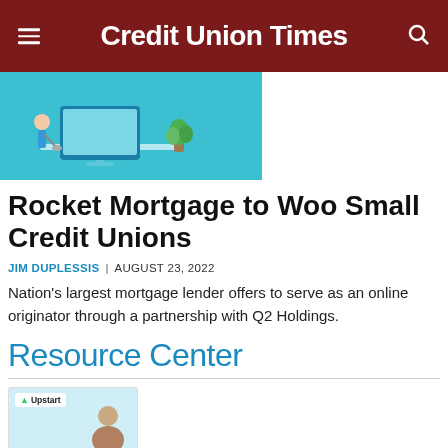Credit Union Times
[Figure (illustration): Hero illustration showing a person cleaning a computer monitor with a plant nearby, on a teal/cyan background]
Rocket Mortgage to Woo Small Credit Unions
JIM DUPLESSIS | AUGUST 23, 2022
Nation's largest mortgage lender offers to serve as an online originator through a partnership with Q2 Holdings.
Resource Center
[Figure (illustration): Upstart branded resource card with a person's photo on a light blue background]